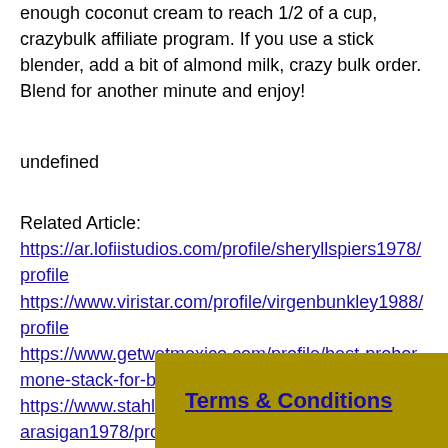enough coconut cream to reach 1/2 of a cup, crazybulk affiliate program. If you use a stick blender, add a bit of almond milk, crazy bulk order. Blend for another minute and enjoy!
undefined
Related Article:
https://ar.lofiistudios.com/profile/sheryllspiers1978/profile https://www.viristar.com/profile/virgenbunkley1988/profile https://www.getwetmexico.com/profile/best-prohormone-stack-for-bulking-top-b-9004/profile https://www.stahlcompanies.com/profile/ruthannemarasigan1978/profile
Terms & Conditions